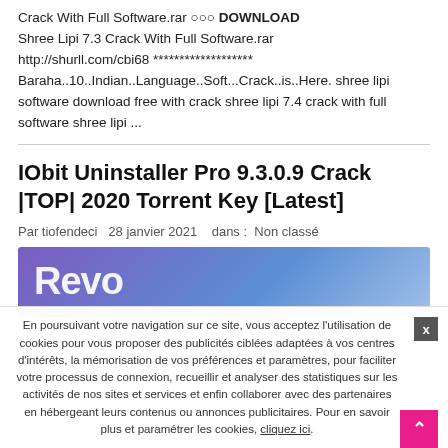Crack With Full Software.rar ○○○ DOWNLOAD
Shree Lipi 7.3 Crack With Full Software.rar
http://shurll.com/cbi68 *******************
Baraha..10..Indian..Language..Soft...Crack..is..Here. shree lipi software download free with crack shree lipi 7.4 crack with full software shree lipi ...
IObit Uninstaller Pro 9.3.0.9 Crack |TOP| 2020 Torrent Key [Latest]
Par tiofendeci   28 janvier 2021   dans :  Non classé
[Figure (photo): Screenshot showing the beginning of a Revo Uninstaller interface image with a purple-blue gradient background and the text 'Revo' partially visible in large white bold letters.]
En poursuivant votre navigation sur ce site, vous acceptez l'utilisation de cookies pour vous proposer des publicités ciblées adaptées à vos centres d'intérêts, la mémorisation de vos préférences et paramètres, pour faciliter votre processus de connexion, recueillir et analyser des statistiques sur les activités de nos sites et services et enfin collaborer avec des partenaires en hébergeant leurs contenus ou annonces publicitaires. Pour en savoir plus et paramétrer les cookies, cliquez ici.